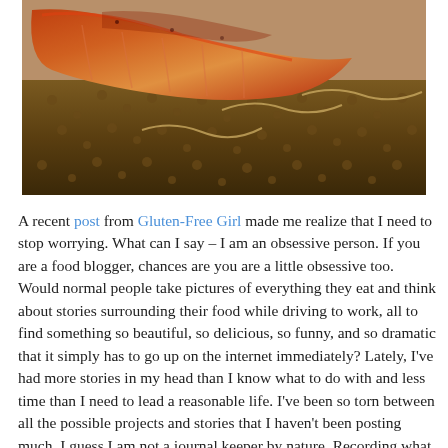[Figure (photo): Close-up photo of a seared salmon fillet resting on a bed of cooked lentils with caramelized onions, served on a white plate.]
A recent post from Gluten-Free Girl made me realize that I need to stop worrying. What can I say – I am an obsessive person. If you are a food blogger, chances are you are a little obsessive too. Would normal people take pictures of everything they eat and think about stories surrounding their food while driving to work, all to find something so beautiful, so delicious, so funny, and so dramatic that it simply has to go up on the internet immediately? Lately, I've had more stories in my head than I know what to do with and less time than I need to lead a reasonable life. I've been so torn between all the possible projects and stories that I haven't been posting much. I guess I am not a journal keeper by nature. Recording what I do on regular basis is very difficult